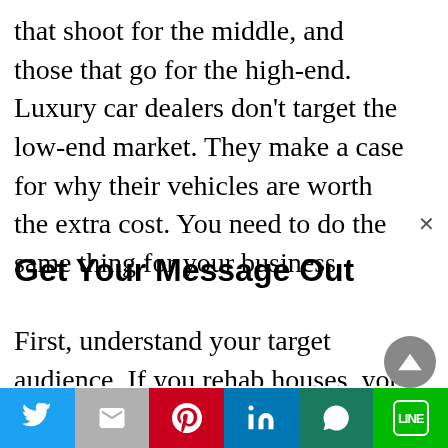that shoot for the middle, and those that go for the high-end. Luxury car dealers don't target the low-end market. They make a case for why their vehicles are worth the extra cost. You need to do the same thing for your business.
Get Your Message Out
First, understand your target audience. If you rehab houses, your target audience is both motivated sellers and end buyers. You need to get
Twitter | Gmail | Pinterest | LinkedIn | WhatsApp | LINE